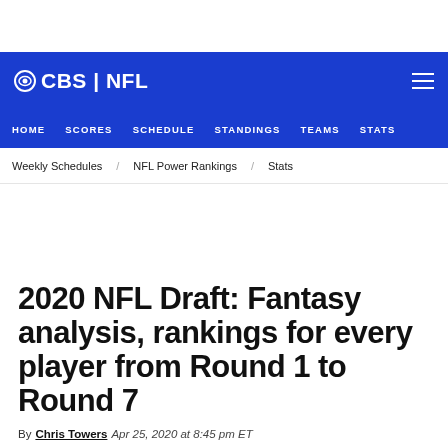CBS | NFL
HOME | SCORES | SCHEDULE | STANDINGS | TEAMS | STATS
Weekly Schedules | NFL Power Rankings | Stats
2020 NFL Draft: Fantasy analysis, rankings for every player from Round 1 to Round 7
By Chris Towers Apr 25, 2020 at 8:45 pm ET
[Figure (photo): Blue-tinted partial photo at bottom of page, appears to be NFL draft or football related content]